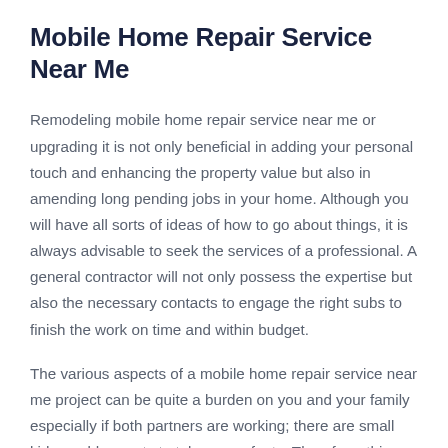Mobile Home Repair Service Near Me
Remodeling mobile home repair service near me or upgrading it is not only beneficial in adding your personal touch and enhancing the property value but also in amending long pending jobs in your home. Although you will have all sorts of ideas of how to go about things, it is always advisable to seek the services of a professional. A general contractor will not only possess the expertise but also the necessary contacts to engage the right subs to finish the work on time and within budget.
The various aspects of a mobile home repair service near me project can be quite a burden on you and your family especially if both partners are working; there are small kids or old parents to take care of, etc. Therefore, this burden is better unloaded onto an able and efficient general contractor who can take care of the job. There